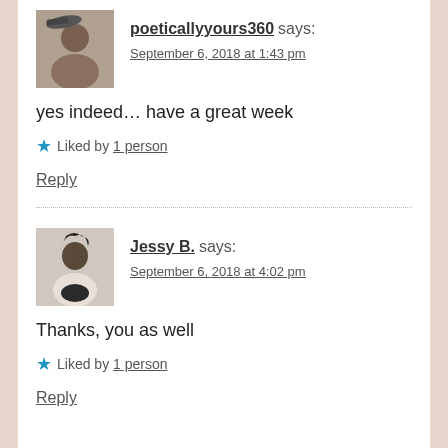[Figure (photo): Avatar photo of poeticallyyours360 - smiling man with hat]
poeticallyyours360 says:
September 6, 2018 at 1:43 pm
yes indeed… have a great week
Liked by 1 person
Reply
[Figure (photo): Avatar photo of Jessy B. - smiling woman]
Jessy B. says:
September 6, 2018 at 4:02 pm
Thanks, you as well
Liked by 1 person
Reply